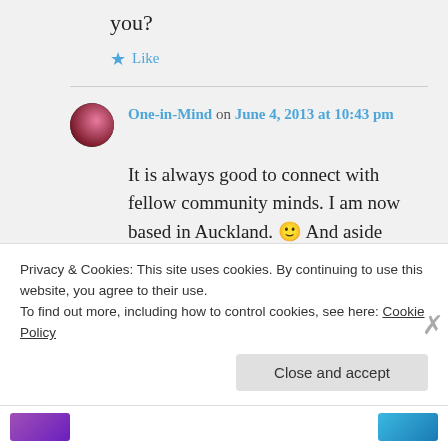you?
Like
One-in-Mind on June 4, 2013 at 10:43 pm
It is always good to connect with fellow community minds. I am now based in Auckland. 🙂 And aside
Privacy & Cookies: This site uses cookies. By continuing to use this website, you agree to their use.
To find out more, including how to control cookies, see here: Cookie Policy
Close and accept